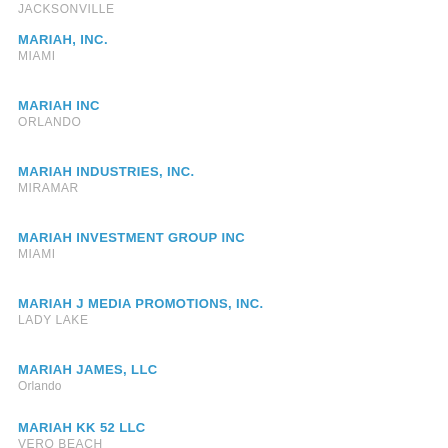JACKSONVILLE
MARIAH, INC.
MIAMI
MARIAH INC
ORLANDO
MARIAH INDUSTRIES, INC.
MIRAMAR
MARIAH INVESTMENT GROUP INC
MIAMI
MARIAH J MEDIA PROMOTIONS, INC.
LADY LAKE
MARIAH JAMES, LLC
Orlando
MARIAH KK 52 LLC
VERO BEACH